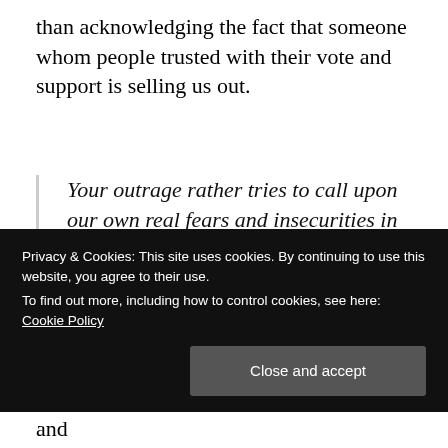than acknowledging the fact that someone whom people trusted with their vote and support is selling us out.
Your outrage rather tries to call upon our own real fears and insecurities in terms of our quality of life by blaming all the issues we actually do see on an
Privacy & Cookies: This site uses cookies. By continuing to use this website, you agree to their use.
To find out more, including how to control cookies, see here: Cookie Policy
We are facing from each present of two and